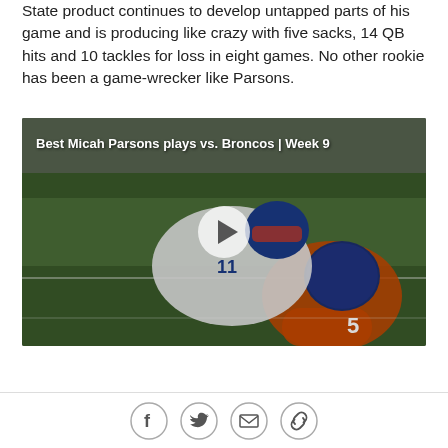State product continues to develop untapped parts of his game and is producing like crazy with five sacks, 14 QB hits and 10 tackles for loss in eight games. No other rookie has been a game-wrecker like Parsons.
[Figure (photo): Video thumbnail showing Dallas Cowboys player Micah Parsons (number 11) tackling a Denver Broncos player (number 5) on the field. A play button overlay is visible in the center. Caption reads 'Best Micah Parsons plays vs. Broncos | Week 9'.]
Back to top
[Figure (infographic): Social media share icons: Facebook, Twitter, Email, Link/copy]